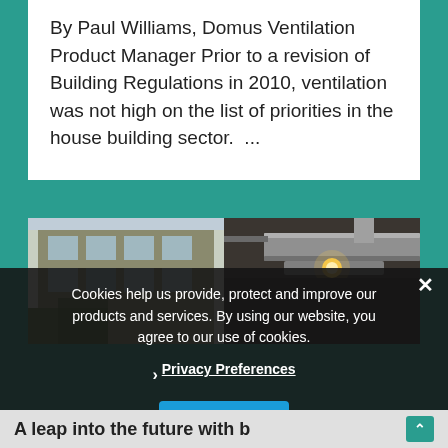By Paul Williams, Domus Ventilation Product Manager Prior to a revision of Building Regulations in 2010, ventilation was not high on the list of priorities in the house building sector.  ...
[Figure (photo): Two side-by-side photos: left shows a building facade with windows and greenery, right shows industrial ductwork/pipes on a ceiling with a light visible.]
Cookies help us provide, protect and improve our products and services. By using our website, you agree to our use of cookies.
❯ Privacy Preferences
I Agree
A leap into the future with b…